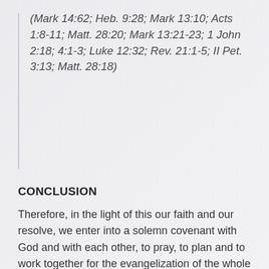(Mark 14:62; Heb. 9:28; Mark 13:10; Acts 1:8-11; Matt. 28:20; Mark 13:21-23; 1 John 2:18; 4:1-3; Luke 12:32; Rev. 21:1-5; II Pet. 3:13; Matt. 28:18)
CONCLUSION
Therefore, in the light of this our faith and our resolve, we enter into a solemn covenant with God and with each other, to pray, to plan and to work together for the evangelization of the whole world. We call upon others to join us. May God help us by his grace and for his glory to be